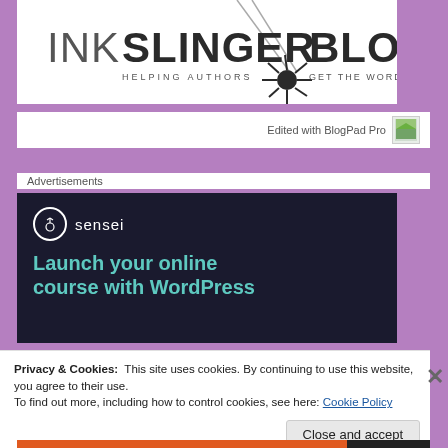[Figure (logo): Inkslinger Blogger logo — stylized text reading INKSLINGER BLOGGER with taglines HELPING AUTHORS and GET THE WORD OUT and a decorative splatter bullet graphic]
Edited with BlogPad Pro
Advertisements
[Figure (screenshot): Sensei advertisement banner with dark navy background, Sensei logo (circle with tree), and teal text reading: Launch your online course with WordPress]
Privacy & Cookies:  This site uses cookies. By continuing to use this website, you agree to their use.
To find out more, including how to control cookies, see here: Cookie Policy
Close and accept